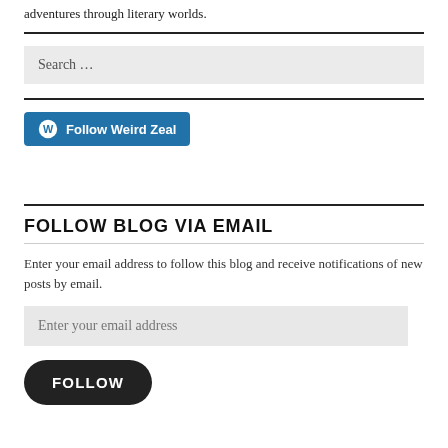adventures through literary worlds.
Search …
Follow Weird Zeal
FOLLOW BLOG VIA EMAIL
Enter your email address to follow this blog and receive notifications of new posts by email.
Enter your email address
FOLLOW